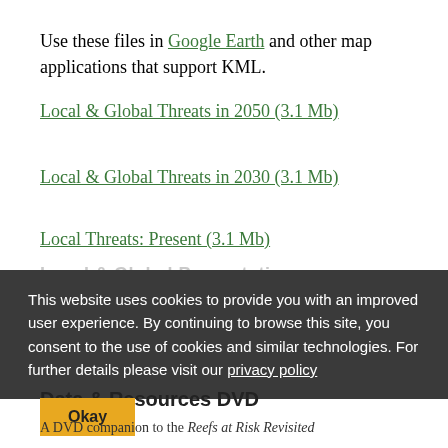Use these files in Google Earth and other map applications that support KML.
Local & Global Threats in 2050 (3.1 Mb)
Local & Global Threats in 2030 (3.1 Mb)
Local Threats: Present (3.1 Mb)
This website uses cookies to provide you with an improved user experience. By continuing to browse this site, you consent to the use of cookies and similar technologies. For further details please visit our privacy policy
Data & Resources DVD
Okay
A DVD companion to the Reefs at Risk Revisited